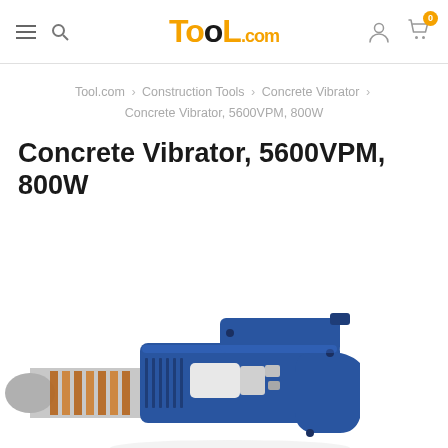Tool.com — navigation header with hamburger menu, search icon, logo, user icon, cart icon (badge: 0)
Tool.com › Construction Tools › Concrete Vibrator › Concrete Vibrator, 5600VPM, 800W
Concrete Vibrator, 5600VPM, 800W
[Figure (photo): Blue and silver concrete vibrator power tool with handle grip and motor housing, partially cropped at bottom of page]